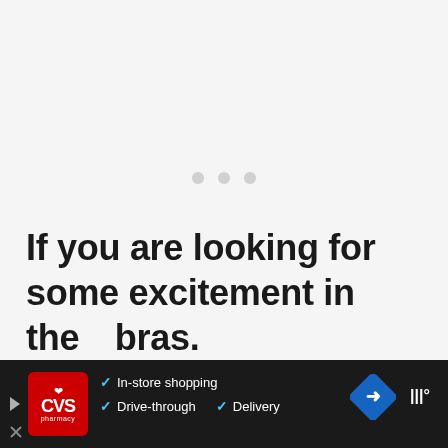[Figure (screenshot): Loading spinner area — light gray background with three small gray dots centered, indicating content is loading]
If you are looking for some excitement in the...bras.
[Figure (infographic): CVS Pharmacy advertisement banner on dark background showing CVS pharmacy logo, checkmarks with 'In-store shopping', 'Drive-through', 'Delivery' text, a red navigation/directions sign icon, and a brand logo on the right]